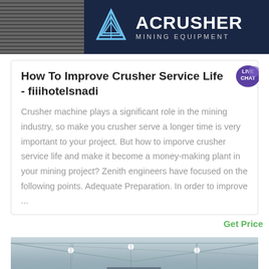[Figure (logo): ACRUSHER Mining Equipment banner logo with dark navy background, striped metal panel on left, triangle/pyramid logo icon, and bold white text 'ACRUSHER MINING EQUIPMENT']
How To Improve Crusher Service Life - fiiihotelsnadi
Crusher machine plays a significant role in the mining industry, so make you crusher serve a longer time is very important to your project. But how to imporve crusher service life and make it become a money-making plant in your mining project? Zenith engineers have focused on the following points. Adequate Preparation. In order to improve ...
Get Price
[Figure (photo): Interior of an industrial facility or warehouse with metal roof trusses, ceiling lights, and industrial equipment visible]